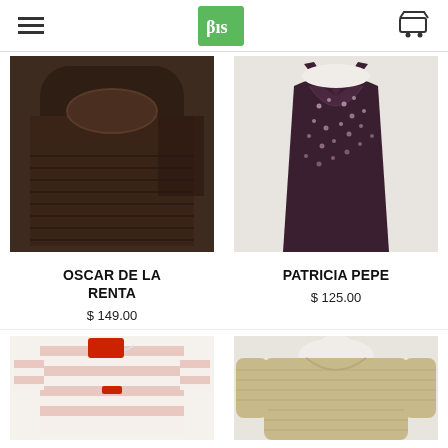Bis shop header with hamburger menu, logo, and cart icon
[Figure (photo): Close-up of a dark brown knit sweater top by Oscar de la Renta]
OSCAR DE LA RENTA
$ 149.00
[Figure (photo): Dark purple sequined halter top by Patricia Pepe on a mannequin]
PATRICIA PEPE
$ 125.00
[Figure (photo): Pink and white striped short-sleeve top with red price tag]
[Figure (photo): Beige/cream knit long-sleeve top on a white mannequin]